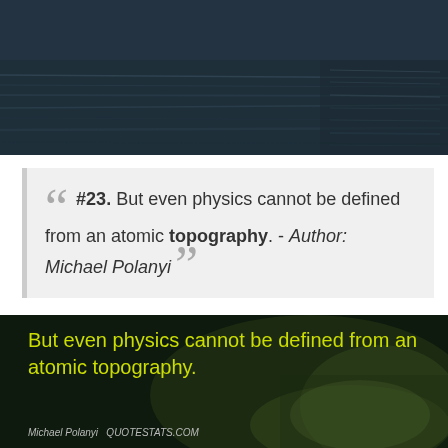[Figure (photo): Dark moody photo of water or dark landscape with horizontal lines, appears to be a body of water at night]
#23. But even physics cannot be defined from an atomic topography. - Author: Michael Polanyi
[Figure (photo): Dark nature photo (appears to show insects/frogs on leaves) with yellow-green text overlay: 'But even physics cannot be defined from an atomic topography.' attributed to Michael Polanyi - QUOTESTATS.COM]